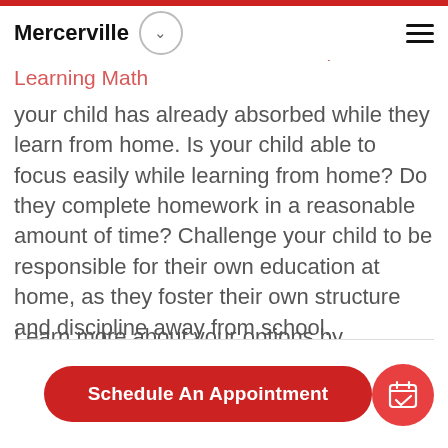Mercerville
your child has already absorbed while they learn from home. Is your child able to focus easily while learning from home? Do they complete homework in a reasonable amount of time? Challenge your child to be responsible for their own education at home, as they foster their own structure and discipline away from school.
Learn more about your options by scheduling an appointment to speak with us today.